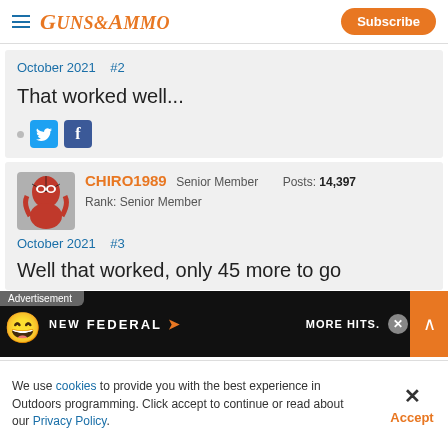GUNS&AMMO — Subscribe
October 2021   #2
That worked well...
CHIRO1989  Senior Member   Posts: 14,397   Rank: Senior Member
October 2021   #3
Well that worked, only 45 more to go
[Figure (screenshot): Advertisement overlay showing NEW FEDERAL branding with MORE HITS. text]
We use cookies to provide you with the best experience in Outdoors programming. Click accept to continue or read about our Privacy Policy.